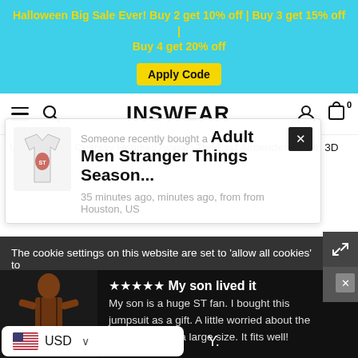Halloween Big Sale Ever! Buy 2 get 10% off | Buy 3 get 15% off | Buy 4 get 20% off  Apply Code
[Figure (screenshot): INSWEAR website navigation bar with hamburger menu, search icon, logo, user icon, and cart icon showing 0 items]
Unisex Korra Cosplay Hoodies Avatar: The Last Airbender Zip Up 3D
[Figure (infographic): Recently bought popup showing a T-shirt product image with text: Someone recently bought a Adult Men Stranger Things Season... 35 minutes ago, minutes ago, from from Houston, US]
The cookie settings on this website are set to 'allow all cookies' to
[Figure (photo): Review popup showing a Stranger Things zombie/demogorgon costume product image with review: ★★★★★ My son lived it - My son is a huge ST fan. I bought this jumpsuit as a gift. A little worried about the size and order a large size. It fits well!]
USD  Y.